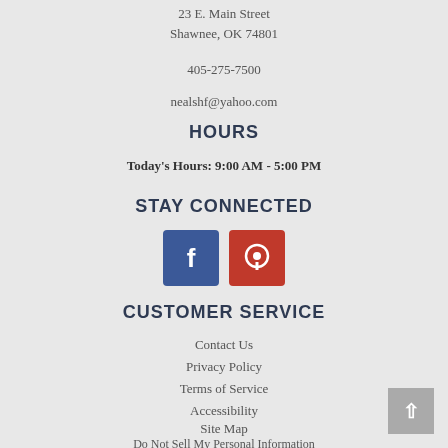23 E. Main Street
Shawnee, OK 74801
405-275-7500
nealshf@yahoo.com
HOURS
Today's Hours: 9:00 AM - 5:00 PM
STAY CONNECTED
[Figure (infographic): Facebook and Pinterest social media icon buttons]
CUSTOMER SERVICE
Contact Us
Privacy Policy
Terms of Service
Accessibility
Site Map
Do Not Sell My Personal Information